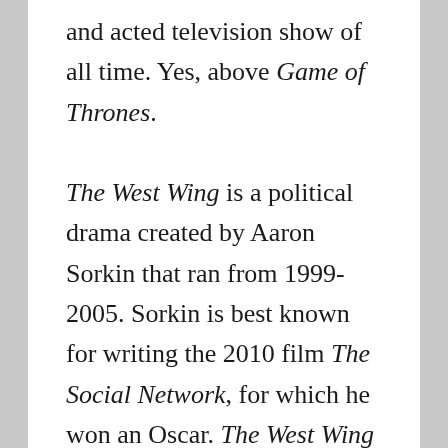and acted television show of all time. Yes, above Game of Thrones.

The West Wing is a political drama created by Aaron Sorkin that ran from 1999-2005. Sorkin is best known for writing the 2010 film The Social Network, for which he won an Oscar. The West Wing takes place in a romanticized fiction of American Politics, under Democratic President Josiah “Jed” Bartlet. The show follows the two terms